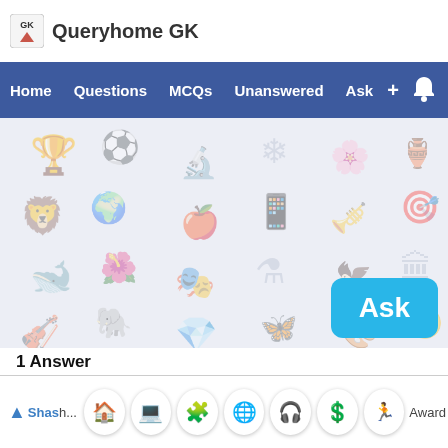Queryhome GK
[Figure (screenshot): Navigation bar with links: Home, Questions, MCQs, Unanswered, Ask, plus sign, and bell icon on blue background]
[Figure (screenshot): Main content area with light blue-gray watermark pattern background showing various education/GK related icons]
[Figure (screenshot): Cyan Ask button in bottom right of content area]
1 Answer
Bottom navigation bar with icons: home, computer, puzzle, globe, headphones, dollar, person running. User: Shash... Award